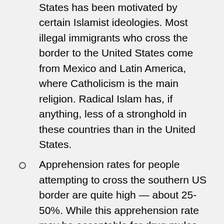States has been motivated by certain Islamist ideologies. Most illegal immigrants who cross the border to the United States come from Mexico and Latin America, where Catholicism is the main religion. Radical Islam has, if anything, less of a stronghold in these countries than in the United States.
Apprehension rates for people attempting to cross the southern US border are quite high — about 25-50%. While this apprehension rate may be acceptable for drug mules and economic migrants who are desperate to improve their condition, it is not acceptable for people who wish to plan terrorist attacks, because they would get detained and fingerprinted and their network may get infiltrated. This point was made by Jeremy Shapiro, a national security expert at the